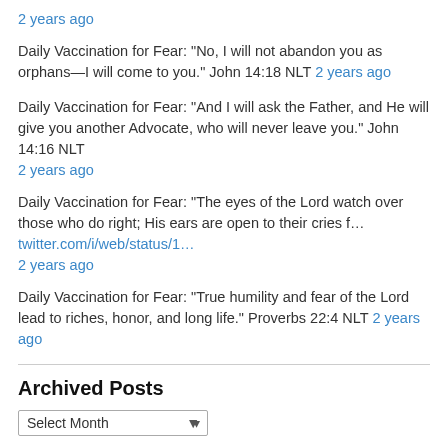2 years ago
Daily Vaccination for Fear: “No, I will not abandon you as orphans—I will come to you.” John 14:18 NLT 2 years ago
Daily Vaccination for Fear: “And I will ask the Father, and He will give you another Advocate, who will never leave you.” John 14:16 NLT 2 years ago
Daily Vaccination for Fear: “The eyes of the Lord watch over those who do right; His ears are open to their cries f… twitter.com/i/web/status/1… 2 years ago
Daily Vaccination for Fear: “True humility and fear of the Lord lead to riches, honor, and long life.” Proverbs 22:4 NLT 2 years ago
Archived Posts
Select Month